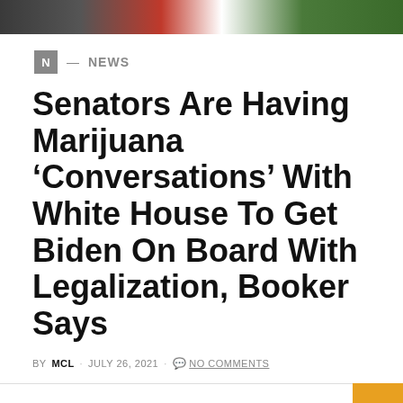[Figure (photo): Top photo strip showing a person in a suit with red tie and green background]
N — NEWS
Senators Are Having Marijuana ‘Conversations’ With White House To Get Biden On Board With Legalization, Booker Says
BY MCL · JULY 26, 2021 · NO COMMENTS
Sen. Cory Booker (D-NJ) isn’t deterred by President Joe Biden’s opposition to marijuana legalization and says that he…